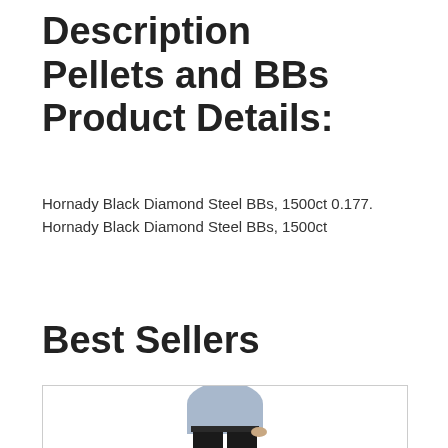Description
Pellets and BBs Product Details:
Hornady Black Diamond Steel BBs, 1500ct 0.177. Hornady Black Diamond Steel BBs, 1500ct
Best Sellers
[Figure (photo): Partial product image showing lower half of a person wearing black pants and a light blue/denim top]